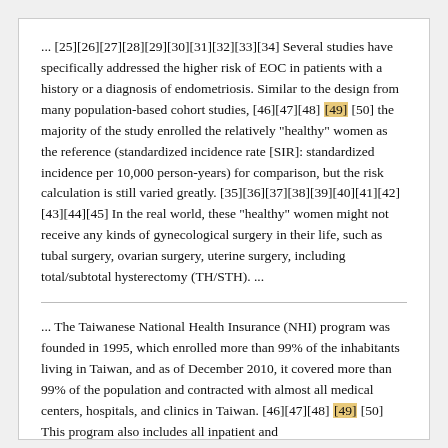... [25][26][27][28][29][30][31][32][33][34] Several studies have specifically addressed the higher risk of EOC in patients with a history or a diagnosis of endometriosis. Similar to the design from many population-based cohort studies, [46][47][48] [49] [50] the majority of the study enrolled the relatively "healthy" women as the reference (standardized incidence rate [SIR]: standardized incidence per 10,000 person-years) for comparison, but the risk calculation is still varied greatly. [35][36][37][38][39][40][41][42][43][44][45] In the real world, these "healthy" women might not receive any kinds of gynecological surgery in their life, such as tubal surgery, ovarian surgery, uterine surgery, including total/subtotal hysterectomy (TH/STH). ...
... The Taiwanese National Health Insurance (NHI) program was founded in 1995, which enrolled more than 99% of the inhabitants living in Taiwan, and as of December 2010, it covered more than 99% of the population and contracted with almost all medical centers, hospitals, and clinics in Taiwan. [46][47][48] [49] [50] This program also includes all inpatient and